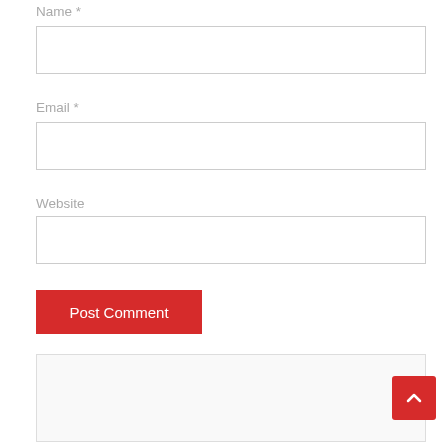Name *
[Figure (screenshot): Empty text input field for Name]
Email *
[Figure (screenshot): Empty text input field for Email]
Website
[Figure (screenshot): Empty text input field for Website]
[Figure (screenshot): Red Post Comment button]
[Figure (screenshot): Search box with placeholder text 'Search ...' inside a light grey bordered container, and a red back-to-top arrow button in the bottom right]